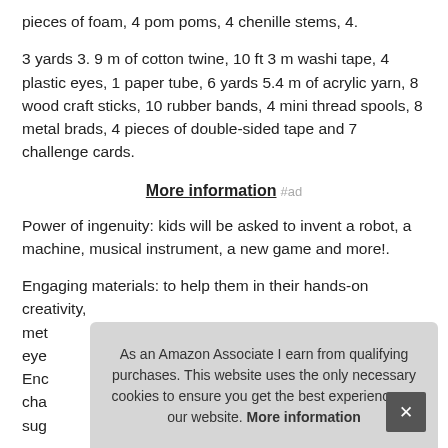pieces of foam, 4 pom poms, 4 chenille stems, 4.
3 yards 3. 9 m of cotton twine, 10 ft 3 m washi tape, 4 plastic eyes, 1 paper tube, 6 yards 5.4 m of acrylic yarn, 8 wood craft sticks, 10 rubber bands, 4 mini thread spools, 8 metal brads, 4 pieces of double-sided tape and 7 challenge cards.
More information #ad
Power of ingenuity: kids will be asked to invent a robot, a machine, musical instrument, a new game and more!.
Engaging materials: to help them in their hands-on creativity, met… eye… Enc… cha… sug…
As an Amazon Associate I earn from qualifying purchases. This website uses the only necessary cookies to ensure you get the best experience on our website. More information